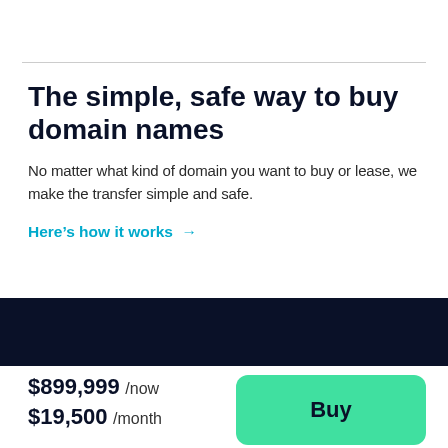The simple, safe way to buy domain names
No matter what kind of domain you want to buy or lease, we make the transfer simple and safe.
Here's how it works →
$899,999 /now $19,500 /month
Buy